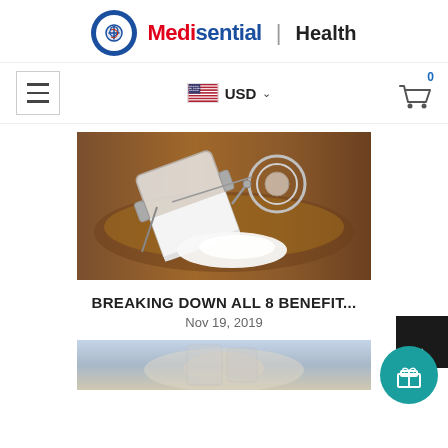Medisential | Health
[Figure (logo): Medisential Health logo with blue circle icon and brand name]
[Figure (screenshot): Navigation bar with hamburger menu, USD currency selector with US flag, and shopping cart icon showing 0 items]
[Figure (photo): A glass jar tipped over on a wooden surface spilling white powder, with the hinged lid open]
BREAKING DOWN ALL 8 BENEFIT...
Nov 19, 2019
[Figure (photo): Partial view of second article image at bottom of page]